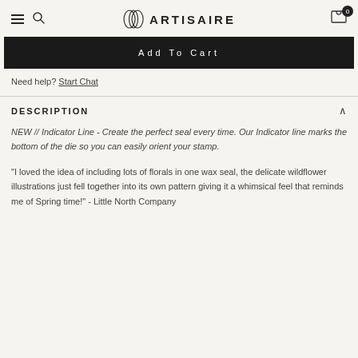ARTISAIRE
Add To Cart
Need help? Start Chat
DESCRIPTION
NEW // Indicator Line - Create the perfect seal every time. Our Indicator line marks the bottom of the die so you can easily orient your stamp.
"I loved the idea of including lots of florals in one wax seal, the delicate wildflower illustrations just fell together into its own pattern giving it a whimsical feel that reminds me of Spring time!" - Little North Company